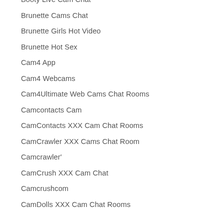Booty Live Cam Chat
Brunette Cams Chat
Brunette Girls Hot Video
Brunette Hot Sex
Cam4 App
Cam4 Webcams
Cam4Ultimate Web Cams Chat Rooms
Camcontacts Cam
CamContacts XXX Cam Chat Rooms
CamCrawler XXX Cams Chat Room
Camcrawler'
CamCrush XXX Cam Chat
Camcrushcom
CamDolls XXX Cam Chat Rooms